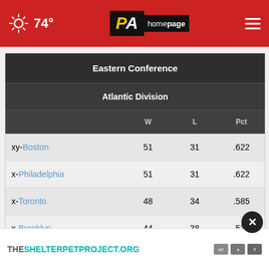74° PA homepage
|  | W | L | Pct |
| --- | --- | --- | --- |
| xy-Boston | 51 | 31 | .622 |
| x-Philadelphia | 51 | 31 | .622 |
| x-Toronto | 48 | 34 | .585 |
| x-Brooklyn | 44 | 38 | .537 |
| New York |  |  |  |